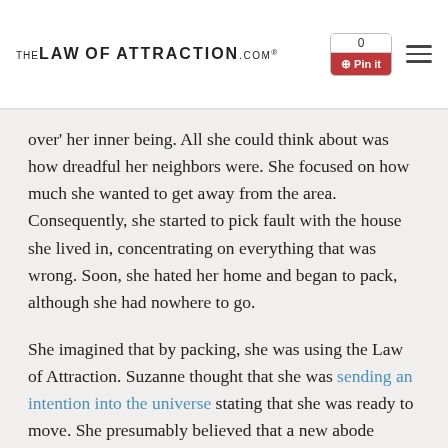TheLawOfAttraction.com® | 0 Pin it | menu
over' her inner being. All she could think about was how dreadful her neighbors were. She focused on how much she wanted to get away from the area. Consequently, she started to pick fault with the house she lived in, concentrating on everything that was wrong. Soon, she hated her home and began to pack, although she had nowhere to go.
She imagined that by packing, she was using the Law of Attraction. Suzanne thought that she was sending an intention into the universe stating that she was ready to move. She presumably believed that a new abode would appear in her life. In reality, her desperation and negative thinking blocked her from getting what she wanted.